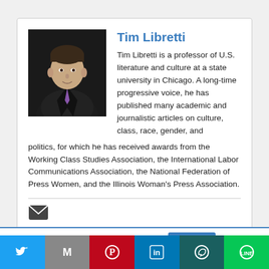Tim Libretti
Tim Libretti is a professor of U.S. literature and culture at a state university in Chicago. A long-time progressive voice, he has published many academic and journalistic articles on culture, class, race, gender, and politics, for which he has received awards from the Working Class Studies Association, the International Labor Communications Association, the National Federation of Press Women, and the Illinois Woman's Press Association.
[Figure (photo): Headshot photo of Tim Libretti, a man in a dark suit with a purple tie, seated, photographed against a dark background]
This website uses cookies.
Social sharing bar with Twitter, Gmail, Pinterest, LinkedIn, WhatsApp, and LINE icons